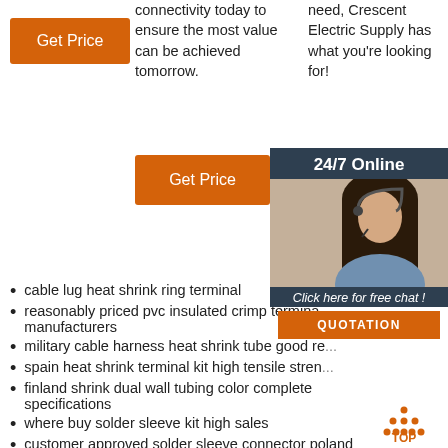[Figure (other): Orange Get Price button (left column)]
connectivity today to ensure the most value can be achieved tomorrow.
need, Crescent Electric Supply has what you're looking for!
[Figure (other): Orange Get Price button (middle column)]
[Figure (other): Partial orange Get button (right column)]
[Figure (photo): 24/7 Online chat panel with photo of woman with headset. Dark background panel with '24/7 Online', 'Click here for free chat!', and QUOTATION button.]
cable lug heat shrink ring terminal
reasonably priced pvc insulated crimp terminal manufacturers
military cable harness heat shrink tube good re...
spain heat shrink terminal kit high tensile stren...
finland shrink dual wall tubing color complete specifications
where buy solder sleeve kit high sales
customer approved solder sleeve connector poland
spain heat shrink tubing insulation sells online
high-end high-tech heat shrink diesel-resistant neoprene
[Figure (other): TOP back-to-top button with orange triangle dots icon]